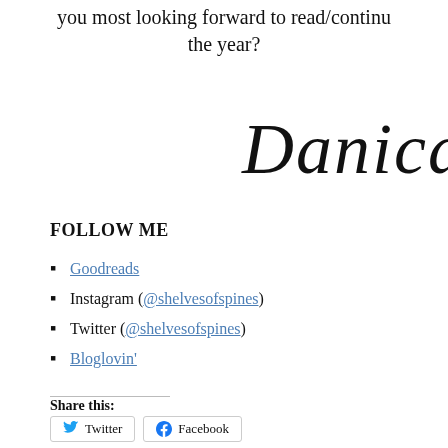you most looking forward to read/continue the year?
[Figure (illustration): Cursive/script signature reading 'Danica' in large decorative italic font]
FOLLOW ME
Goodreads
Instagram (@shelvesofspines)
Twitter (@shelvesofspines)
Bloglovin'
Share this:
Twitter   Facebook